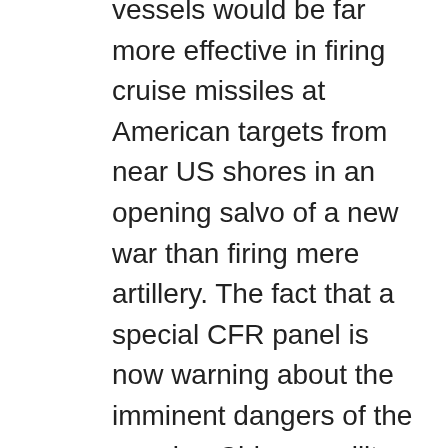vessels would be far more effective in firing cruise missiles at American targets from near US shores in an opening salvo of a new war than firing mere artillery. The fact that a special CFR panel is now warning about the imminent dangers of the growing Chinese military is cause for hope. The CFR panel is absolutely correct. The USA needs to wake up and invest a lot of money and effort into rebuilding its military or it is going to be in a very precarious military situation in just a few years.

In order to prepare the USA to meet